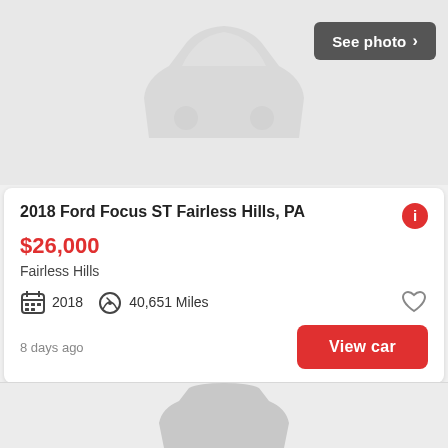[Figure (illustration): Car listing placeholder image with grey car silhouette icon on light grey background, with a dark grey 'See photo >' button in top right]
2018 Ford Focus ST Fairless Hills, PA
$26,000
Fairless Hills
2018   40,651 Miles
8 days ago
View car
[Figure (illustration): Partial car listing placeholder image at bottom of page, showing top portion of grey car silhouette on light grey background]